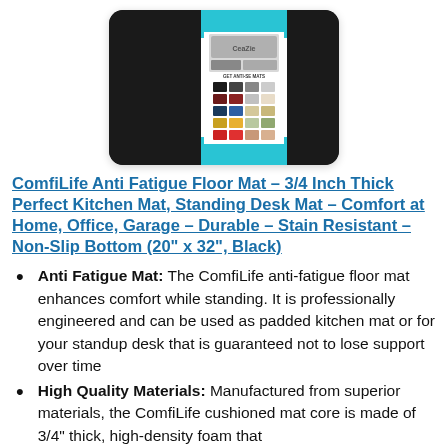[Figure (photo): Product photo of a black ComfiLife Anti Fatigue Floor Mat with a teal/cyan label strip showing color swatches and brand imagery on the right side of the mat packaging.]
ComfiLife Anti Fatigue Floor Mat – 3/4 Inch Thick Perfect Kitchen Mat, Standing Desk Mat – Comfort at Home, Office, Garage – Durable – Stain Resistant – Non-Slip Bottom (20" x 32", Black)
Anti Fatigue Mat: The ComfiLife anti-fatigue floor mat enhances comfort while standing. It is professionally engineered and can be used as padded kitchen mat or for your standup desk that is guaranteed not to lose support over time
High Quality Materials: Manufactured from superior materials, the ComfiLife cushioned mat core is made of 3/4" thick, high-density foam that